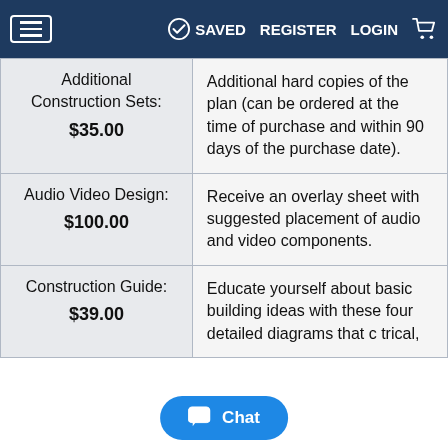≡   ✓ SAVED   REGISTER   LOGIN   🛒
| Item | Description |
| --- | --- |
| Additional Construction Sets: $35.00 | Additional hard copies of the plan (can be ordered at the time of purchase and within 90 days of the purchase date). |
| Audio Video Design: $100.00 | Receive an overlay sheet with suggested placement of audio and video components. |
| Construction Guide: $39.00 | Educate yourself about basic building ideas with these four detailed diagrams that c… trical, |